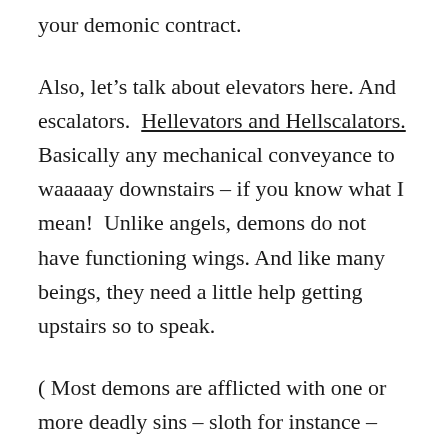your demonic contract.
Also, let’s talk about elevators here. And escalators. Hellevators and Hellscalators. Basically any mechanical conveyance to waaaaay downstairs – if you know what I mean!  Unlike angels, demons do not have functioning wings. And like many beings, they need a little help getting upstairs so to speak.
( Most demons are afflicted with one or more deadly sins – sloth for instance – and fun fact! –  Hell fires actually burn on left over fast